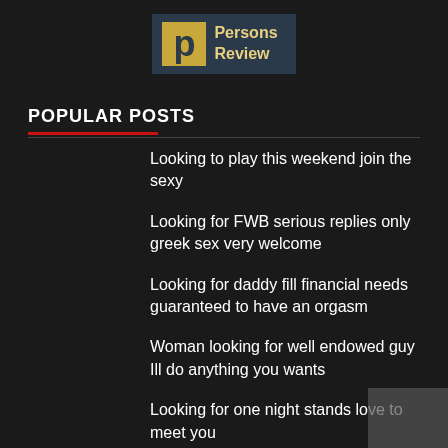[Figure (logo): Persons Review logo with yellow P on dark teal background and yellow text]
POPULAR POSTS
Looking to play this weekend join the sexy
Looking for FWB serious replies only greek sex very welcome
Looking for daddy fill financial needs guaranteed to have an orgasm
Woman looking for well endowed guy Ill do anything you wants
Looking for one night stands love to meet you